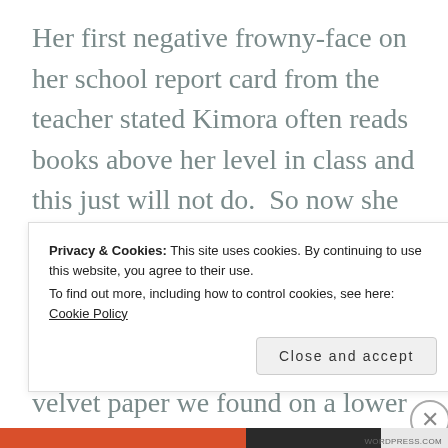Her first negative frowny-face on her school report card from the teacher stated Kimora often reads books above her level in class and this just will not do.  So now she and I sit endless hours and read to each other until our imagination calls us to the art studio to pour our visions on black and white velvet paper we found on a lower shelf at our local Super Wally World store.
Privacy & Cookies: This site uses cookies. By continuing to use this website, you agree to their use.
To find out more, including how to control cookies, see here: Cookie Policy
Close and accept